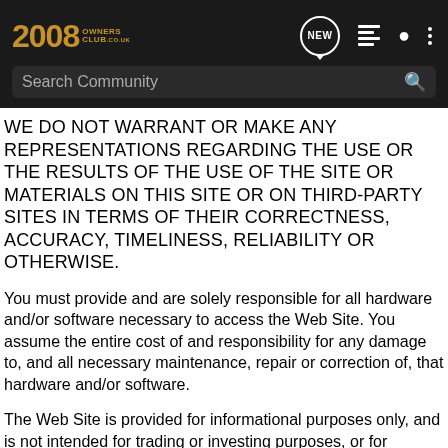[Figure (screenshot): 2008 Owners Club website header with dark background, logo, navigation icons (NEW bubble, list icon, user icon, dots menu), and search bar with 'Search Community' placeholder text and search icon.]
WE DO NOT WARRANT OR MAKE ANY REPRESENTATIONS REGARDING THE USE OR THE RESULTS OF THE USE OF THE SITE OR MATERIALS ON THIS SITE OR ON THIRD-PARTY SITES IN TERMS OF THEIR CORRECTNESS, ACCURACY, TIMELINESS, RELIABILITY OR OTHERWISE.
You must provide and are solely responsible for all hardware and/or software necessary to access the Web Site. You assume the entire cost of and responsibility for any damage to, and all necessary maintenance, repair or correction of, that hardware and/or software.
The Web Site is provided for informational purposes only, and is not intended for trading or investing purposes, or for commercial use. The Web Site should not be used in any high risk activities where damage or injury to persons, property, environment,